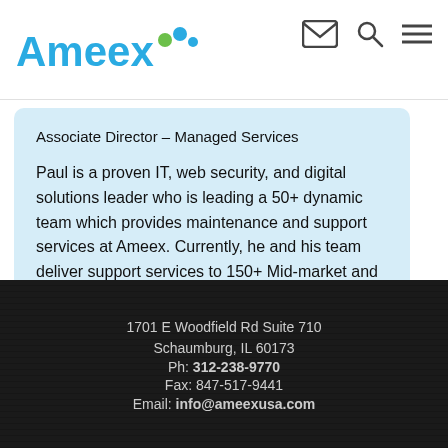Ameex [logo with mail and search/menu icons]
Associate Director – Managed Services
Paul is a proven IT, web security, and digital solutions leader who is leading a 50+ dynamic team which provides maintenance and support services at Ameex. Currently, he and his team deliver support services to 150+ Mid-market and SMB companies.
[Figure (logo): LinkedIn icon button (circular white button with 'in' text)]
1701 E Woodfield Rd Suite 710
Schaumburg, IL 60173
Ph: 312-238-9770
Fax: 847-517-9441
Email: info@ameexusa.com